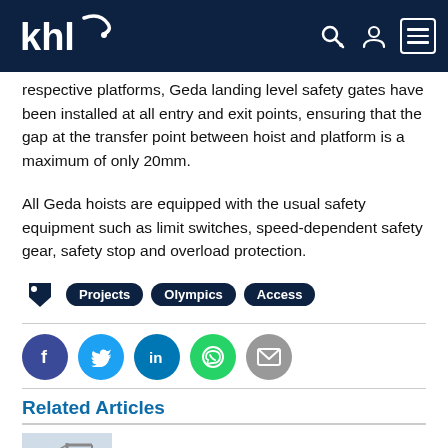khl
respective platforms, Geda landing level safety gates have been installed at all entry and exit points, ensuring that the gap at the transfer point between hoist and platform is a maximum of only 20mm.
All Geda hoists are equipped with the usual safety equipment such as limit switches, speed-dependent safety gear, safety stop and overload protection.
Projects  Olympics  Access
[Figure (infographic): Social sharing buttons: Facebook, Twitter, LinkedIn, WhatsApp, Email]
Related Articles
Mammeet's RT 50 ring crane